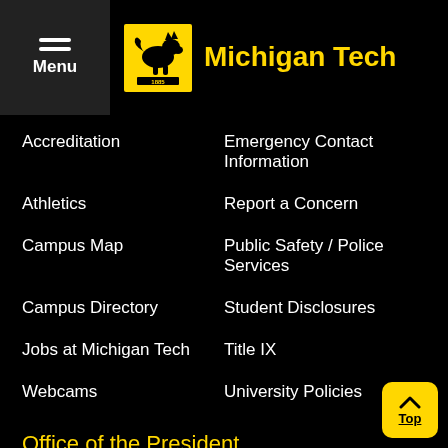Menu | Michigan Tech
Accreditation
Emergency Contact Information
Athletics
Report a Concern
Campus Map
Public Safety / Police Services
Campus Directory
Student Disclosures
Jobs at Michigan Tech
Title IX
Webcams
University Policies
Office of the President
Administration Building 500A
1400 Townsend Drive
Houghton, Michigan 49931-1295
Ph: 906-487-2200